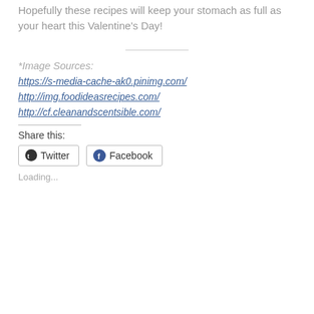Hopefully these recipes will keep your stomach as full as your heart this Valentine's Day!
*Image Sources:
https://s-media-cache-ak0.pinimg.com/
http://img.foodideasrecipes.com/
http://cf.cleanandscentsible.com/
Share this:
Twitter
Facebook
Loading...